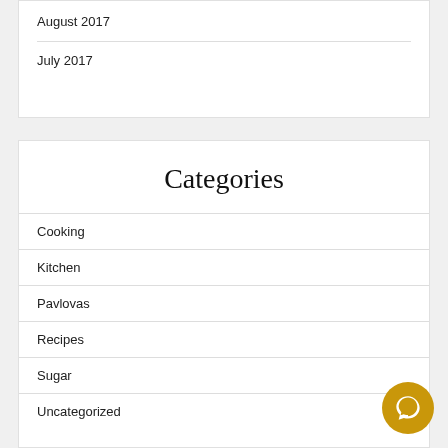August 2017
July 2017
Categories
Cooking
Kitchen
Pavlovas
Recipes
Sugar
Uncategorized